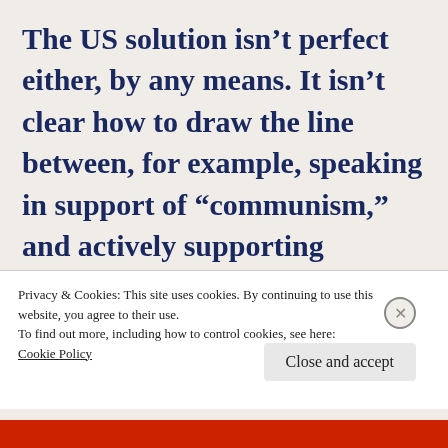The US solution isn't perfect either, by any means. It isn't clear how to draw the line between, for example, speaking in support of “communism,” and actively supporting “insurrection” against the duly constituted government. We struggled to deal with those
Privacy & Cookies: This site uses cookies. By continuing to use this website, you agree to their use.
To find out more, including how to control cookies, see here: Cookie Policy